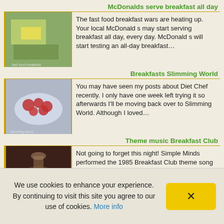McDonalds serve breakfast all day
The fast food breakfast wars are heating up. Your local McDonald s may start serving breakfast all day, every day. McDonald s will start testing an all-day breakfast…
Breakfasts Slimming World
You may have seen my posts about Diet Chef recently. I only have one week left trying it so afterwards I'll be moving back over to Slimming World. Although I loved…
Theme music Breakfast Club
Not going to forget this night! Simple Minds performed the 1985 Breakfast Club theme song Don t You (Forget About Me) at the 2015 Billboard Music Awards on Sunday…
Important quotes from Breakfast of Champions
It seems incredibly melodramatic to say
We use cookies to enhance your experience. By continuing to visit this site you agree to our use of cookies. More info